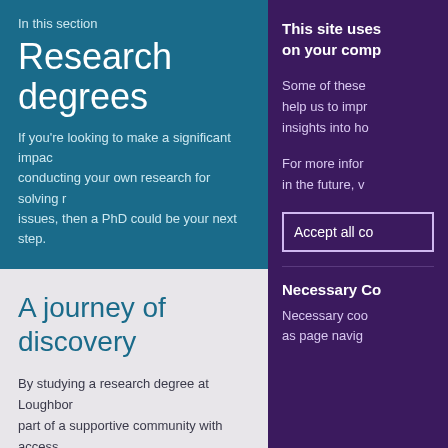In this section
Research degrees
If you're looking to make a significant impac conducting your own research for solving r issues, then a PhD could be your next step.
A journey of discovery
By studying a research degree at Loughbor part of a supportive community with access research network. With 94% of Loughborou research impact rated as 'world-leading' o 'internationally excellent' (REF, 2021), we'r the wide-ranging positive impacts that our on the world and the benefits it brings to b
This site uses on your comp
Some of these help us to impr insights into ho
For more infor in the future, v
Accept all co
Necessary Co
Necessary coo as page navig